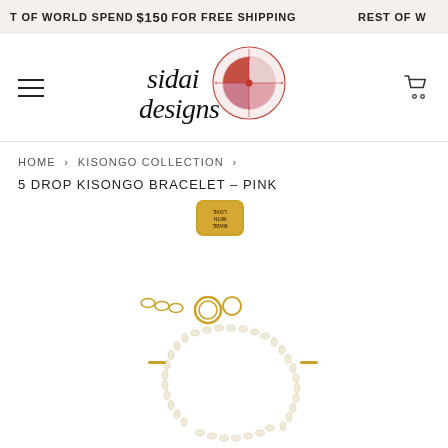T OF WORLD SPEND $150 FOR FREE SHIPPING   REST OF W
[Figure (logo): Sidai Designs logo with circular target/compass graphic in red and pink next to serif text reading 'SIDAI DESIGNS']
HOME › KISONGO COLLECTION ›
5 DROP KISONGO BRACELET – PINK
[Figure (photo): Close-up photo of a delicate beaded bracelet with cream/white seed beads and gold bar accents, with a gold spring ring clasp and a small gold charm tag reading 'MADE WITH LOVE', on white background]